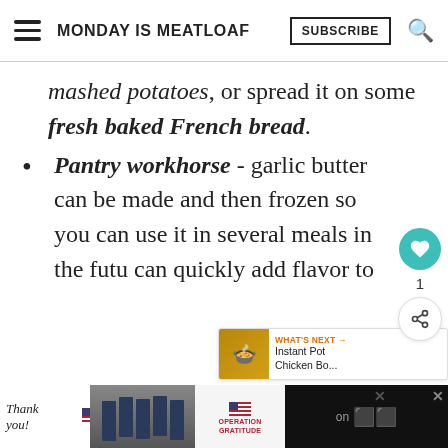MONDAY IS MEATLOAF | SUBSCRIBE
mashed potatoes, or spread it on some fresh baked French bread.
Pantry workhorse - garlic butter can be made and then frozen so you can use it in several meals in the futu… can quickly add flavor to
[Figure (screenshot): Advertisement banner at the bottom showing Operation Gratitude with firefighters and thank you handwriting]
Ad banner: Thank you! Operation Gratitude